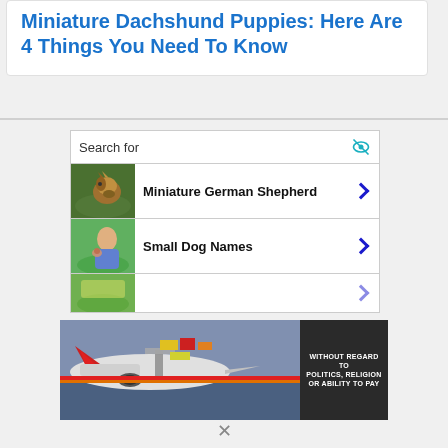Miniature Dachshund Puppies: Here Are 4 Things You Need To Know
[Figure (screenshot): Search widget with 'Search for' header and eye icon, showing two full search result rows: 'Miniature German Shepherd' with a German Shepherd dog image, and 'Small Dog Names' with a person holding a small dog, each with a blue chevron arrow. A partial third row is visible.]
[Figure (photo): Advertisement banner showing an airplane being loaded with cargo, with text 'WITHOUT REGARD TO POLITICS, RELIGION OR ABILITY TO PAY' on a dark background on the right side.]